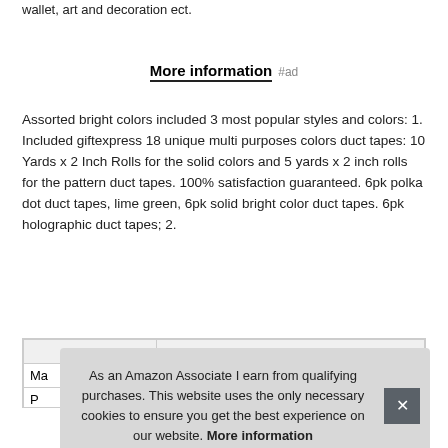wallet, art and decoration ect.
More information #ad
Assorted bright colors included 3 most popular styles and colors: 1. Included giftexpress 18 unique multi purposes colors duct tapes: 10 Yards x 2 Inch Rolls for the solid colors and 5 yards x 2 inch rolls for the pattern duct tapes. 100% satisfaction guaranteed. 6pk polka dot duct tapes, lime green, 6pk solid bright color duct tapes. 6pk holographic duct tapes; 2.
| Ma |  |
| P |  |
As an Amazon Associate I earn from qualifying purchases. This website uses the only necessary cookies to ensure you get the best experience on our website. More information